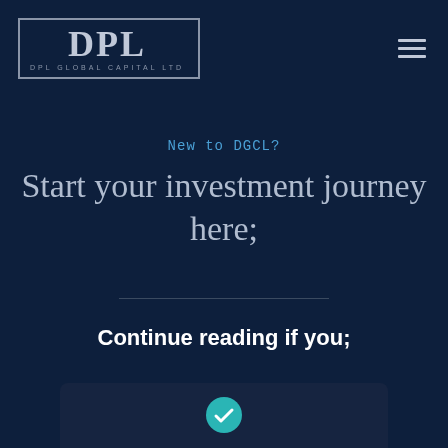[Figure (logo): DPL Global Capital Ltd logo — large serif DPL letters inside a rectangle border, with small text DPL GLOBAL CAPITAL LTD beneath]
New to DGCL?
Start your investment journey here;
Continue reading if you;
[Figure (illustration): A teal/cyan circular checkmark icon inside a rounded card area, partially visible at the bottom of the page]